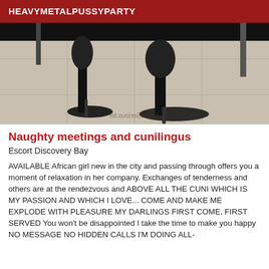HEAVYMETALPUSSYPARTY
[Figure (photo): Close-up photo of black high heel shoes on a tiled floor, with a mirrored watermark text at the bottom reading 'AngusSerious.tel']
Naughty meetings and cunilingus
Escort Discovery Bay
AVAILABLE African girl new in the city and passing through offers you a moment of relaxation in her company. Exchanges of tenderness and others are at the rendezvous and ABOVE ALL THE CUNI WHICH IS MY PASSION AND WHICH I LOVE... COME AND MAKE ME EXPLODE WITH PLEASURE MY DARLINGS FIRST COME, FIRST SERVED You won't be disappointed I take the time to make you happy NO MESSAGE NO HIDDEN CALLS I'M DOING ALL-